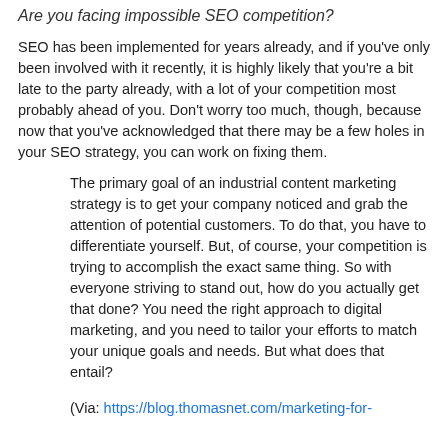Are you facing impossible SEO competition?
SEO has been implemented for years already, and if you've only been involved with it recently, it is highly likely that you're a bit late to the party already, with a lot of your competition most probably ahead of you. Don't worry too much, though, because now that you've acknowledged that there may be a few holes in your SEO strategy, you can work on fixing them.
The primary goal of an industrial content marketing strategy is to get your company noticed and grab the attention of potential customers. To do that, you have to differentiate yourself. But, of course, your competition is trying to accomplish the exact same thing. So with everyone striving to stand out, how do you actually get that done? You need the right approach to digital marketing, and you need to tailor your efforts to match your unique goals and needs. But what does that entail?
(Via: https://blog.thomasnet.com/marketing-for-